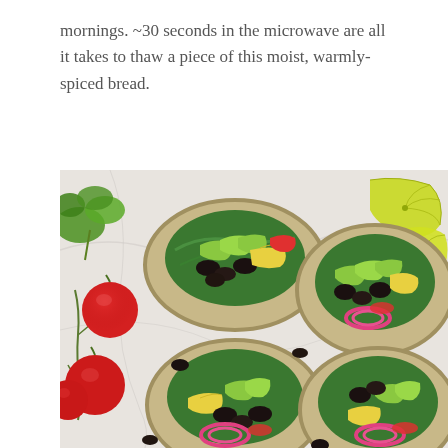mornings. ~30 seconds in the microwave are all it takes to thaw a piece of this moist, warmly-spiced bread.
[Figure (photo): Top-down overhead photo of several open-faced burrito wraps filled with scrambled eggs, black beans, sliced avocado, pink pickled onions, red bell peppers, and spinach on a marble surface, surrounded by cherry tomatoes on the vine, fresh cilantro, and lime wedges.]